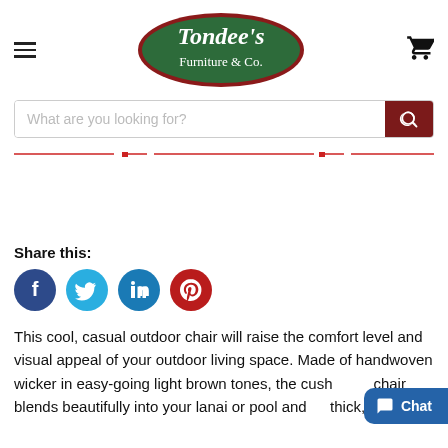[Figure (logo): Tondee's Furniture & Co. logo — green oval with red border, white serif text]
What are you looking for?
Share this:
[Figure (infographic): Social share icons: Facebook (dark blue), Twitter (light blue), LinkedIn (blue), Pinterest (red)]
This cool, casual outdoor chair will raise the comfort level and visual appeal of your outdoor living space. Made of handwoven wicker in easy-going light brown tones, the cushioned chair blends beautifully into your lanai or pool and … thick, comfy